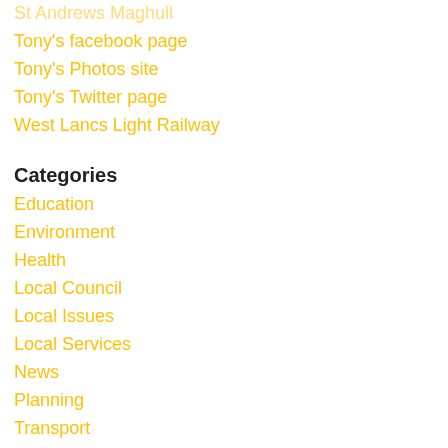St Andrews Maghull
Tony's facebook page
Tony's Photos site
Tony's Twitter page
West Lancs Light Railway
Categories
Education
Environment
Health
Local Council
Local Issues
Local Services
News
Planning
Transport
Login to the site
Site RSS feed